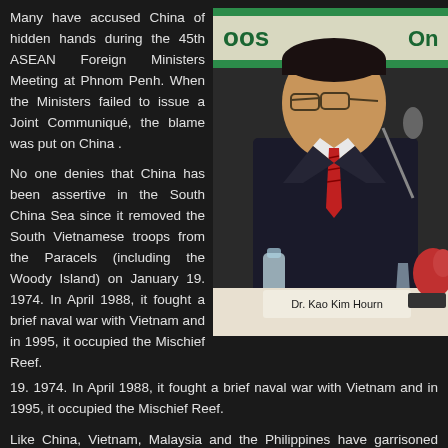Many have accused China of hidden hands during the 45th ASEAN Foreign Ministers Meeting at Phnom Penh. When the Ministers failed to issue a Joint Communiqué, the blame was put on China .
[Figure (photo): Man in dark suit and red striped tie seated at a conference table with a nameplate reading 'Dr. Kao Kim Hourn'. Conference backdrop visible in background with a water bottle and glass on the table.]
No one denies that China has been assertive in the South China Sea since it removed the South Vietnamese troops from the Paracels (including the Woody Island) on January 19. 1974. In April 1988, it fought a brief naval war with Vietnam and in 1995, it occupied the Mischief Reef.
Like China, Vietnam, Malaysia and the Philippines have garrisoned their territories in the South China Sea. Taiwan has the biggest military garrison on Itu Aba. Brunei is the only claimant that does not send troops to occupy any island or rock feature.
Incident at Scarborough in April 2012